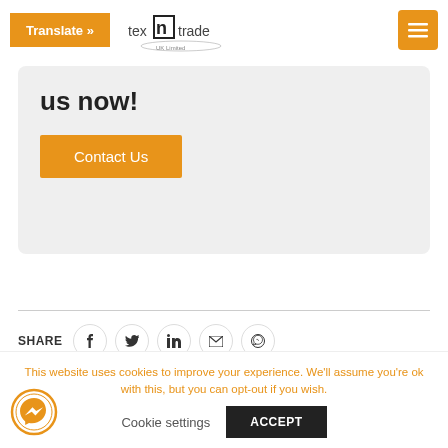Translate »
[Figure (logo): tex n trade logo with stylized N in a box and globe graphic]
[Figure (other): Orange hamburger menu button]
us now!
Contact Us
SHARE
[Figure (other): Social share icons: Facebook, Twitter, LinkedIn, Email, WhatsApp]
This website uses cookies to improve your experience. We'll assume you're ok with this, but you can opt-out if you wish.
Cookie settings
ACCEPT
[Figure (other): Facebook Messenger chat icon circle]